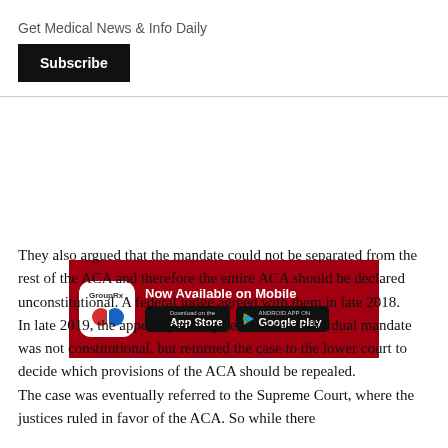Get Medical News & Info Daily
Subscribe
[Figure (screenshot): GroupRx app advertisement banner with red background showing 'Now Available on Mobile' with App Store and Google Play download buttons]
They also argued that the mandate could not be separated from the rest of the ACA and therefore the entire ACA should be declared unconstitutional. A federal judge agreed with them in late 2018.
In late 2019, the appeals panel agreed that the individual mandate was not constitutional, but returned the case to the lower court to decide which provisions of the ACA should be repealed.
The case was eventually referred to the Supreme Court, where the justices ruled in favor of the ACA. So while there